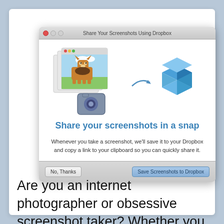[Figure (screenshot): macOS dialog window titled 'Share Your Screenshots Using Dropbox' showing a corgi dog photo, a camera icon, an arrow pointing to a Dropbox icon, with text 'Share your screenshots in a snap' and body text explaining the feature. Buttons: 'No, Thanks' and 'Save Screenshots to Dropbox'.]
Are you an internet photographer or obsessive screenshot taker? Whether you need an image